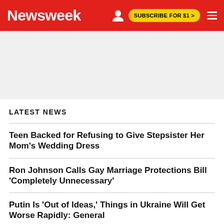Newsweek | SUBSCRIBE FOR $1 >
[Figure (other): Advertisement banner area, light gray background]
LATEST NEWS
Teen Backed for Refusing to Give Stepsister Her Mom's Wedding Dress
Ron Johnson Calls Gay Marriage Protections Bill 'Completely Unnecessary'
Putin Is 'Out of Ideas,' Things in Ukraine Will Get Worse Rapidly: General
Women Lead Surge In New Voter Registrations Since Roe